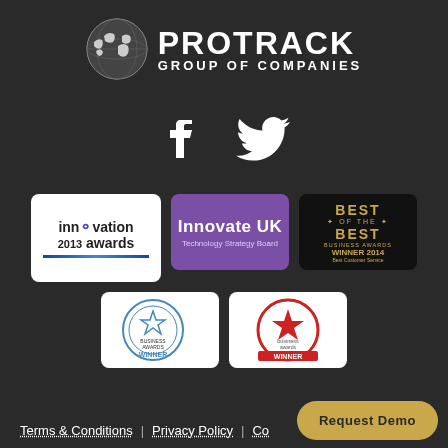[Figure (logo): Protrack Group of Companies logo with globe icon]
[Figure (illustration): Social media icons: Facebook and Twitter (white on dark background)]
[Figure (illustration): Five award badges: Innovation 2013 Awards, Innovate UK Technology Strategy Board, Best of the Best Business Awards Winner 2014, two Business Awards Winner badges]
Terms & Conditions | Privacy Policy | Co...